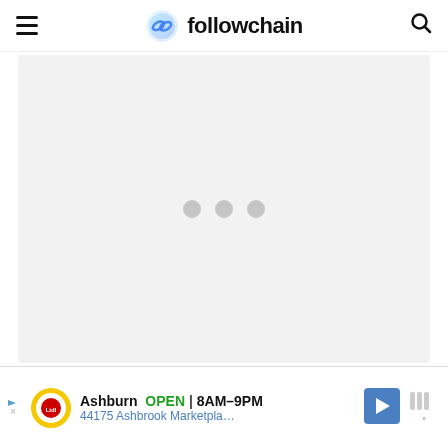followchain
[Figure (screenshot): Loading placeholder area with three grey dots indicating content is being loaded]
[Figure (infographic): Advertisement banner for Lidl store in Ashburn showing OPEN 8AM-9PM, 44175 Ashbrook Marketpla..., with Lidl logo, navigation arrow icon, and weather icon]